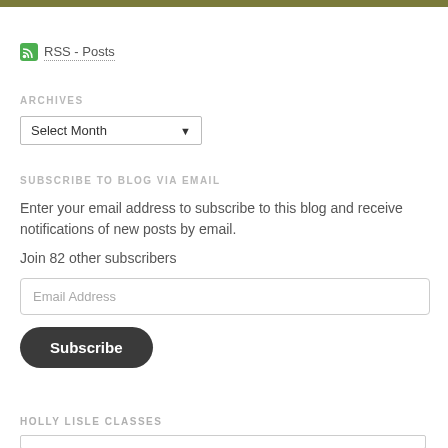[Figure (other): Olive/khaki colored horizontal top bar]
RSS - Posts
ARCHIVES
[Figure (other): Select Month dropdown widget]
SUBSCRIBE TO BLOG VIA EMAIL
Enter your email address to subscribe to this blog and receive notifications of new posts by email.
Join 82 other subscribers
[Figure (other): Email Address input field]
[Figure (other): Subscribe button]
HOLLY LISLE CLASSES
[Figure (other): Bottom bordered box or input area]